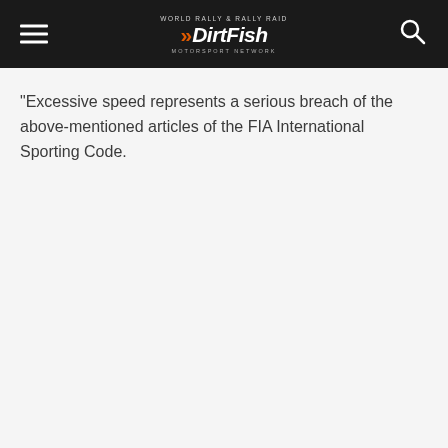DirtFish
“Excessive speed represents a serious breach of the above-mentioned articles of the FIA International Sporting Code.